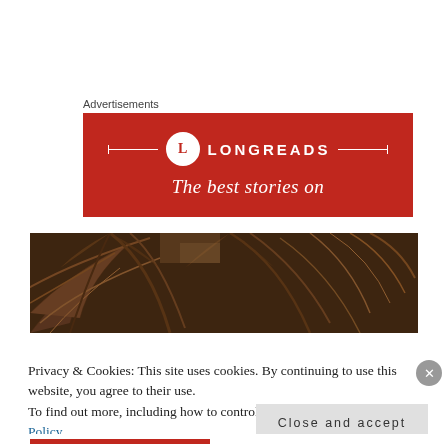Advertisements
[Figure (logo): Longreads advertisement banner with red background, circular L logo, horizontal decorative lines, LONGREADS text in white, and partial tagline 'The best stories on']
[Figure (photo): Close-up photograph of palm tree fronds with a sepia/warm brown tone]
Privacy & Cookies: This site uses cookies. By continuing to use this website, you agree to their use.
To find out more, including how to control cookies, see here: Cookie Policy
Close and accept